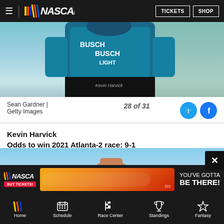[Figure (screenshot): NASCAR website navigation bar with hamburger menu, NASCAR logo with colored stripes, TICKETS and SHOP buttons]
[Figure (photo): Kevin Harvick in Busch Light racing suit, photo by Sean Gardner / Getty Images, slide 28 of 31]
Sean Gardner | Getty Images
28 of 31
Kevin Harvick
Odds to win 2021 Atlanta-2 race: 9-1
[Figure (photo): Race celebration photo, fist pump against blue sky background]
[Figure (screenshot): NASCAR advertisement banner: NASCAR logo, BUY TICKETS button, race car image, YOU'VE GOTTA BE THERE! text]
[Figure (screenshot): NASCAR mobile app bottom navigation bar with Home, Schedule, Race Center, Standings, Fantasy icons]